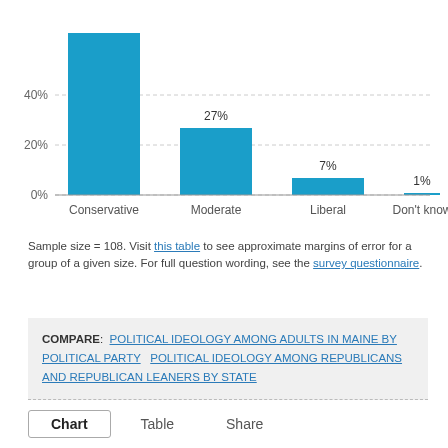[Figure (bar-chart): Political ideology among Republicans and Republican leaners in Maine]
Sample size = 108. Visit this table to see approximate margins of error for a group of a given size. For full question wording, see the survey questionnaire.
COMPARE: POLITICAL IDEOLOGY AMONG ADULTS IN MAINE BY POLITICAL PARTY  POLITICAL IDEOLOGY AMONG REPUBLICANS AND REPUBLICAN LEANERS BY STATE
Chart  Table  Share